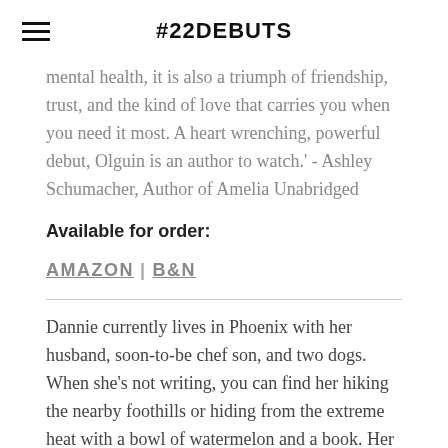#22DEBUTS
mental health, it is also a triumph of friendship, trust, and the kind of love that carries you when you need it most. A heart wrenching, powerful debut, Olguin is an author to watch.' - Ashley Schumacher, Author of Amelia Unabridged
Available for order:
AMAZON | B&N
Dannie currently lives in Phoenix with her husband, soon-to-be chef son, and two dogs. When she's not writing, you can find her hiking the nearby foothills or hiding from the extreme heat with a bowl of watermelon and a book. Her